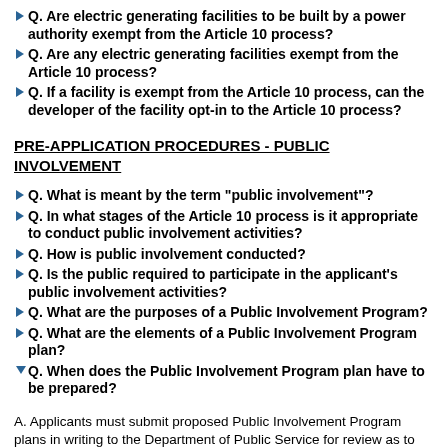Q. Are electric generating facilities to be built by a power authority exempt from the Article 10 process?
Q. Are any electric generating facilities exempt from the Article 10 process?
Q. If a facility is exempt from the Article 10 process, can the developer of the facility opt-in to the Article 10 process?
PRE-APPLICATION PROCEDURES - PUBLIC INVOLVEMENT
Q. What is meant by the term "public involvement"?
Q. In what stages of the Article 10 process is it appropriate to conduct public involvement activities?
Q. How is public involvement conducted?
Q. Is the public required to participate in the applicant's public involvement activities?
Q. What are the purposes of a Public Involvement Program?
Q. What are the elements of a Public Involvement Program plan?
Q. When does the Public Involvement Program plan have to be prepared?
A. Applicants must submit proposed Public Involvement Program plans in writing to the Department of Public Service for review as to their adequacy at least 150 days prior to the submittal of a...